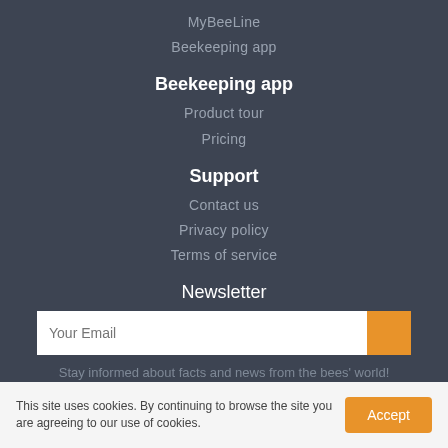MyBeeLine
Beekeeping app
Beekeeping app
Product tour
Pricing
Support
Contact us
Privacy policy
Terms of service
Newsletter
Your Email
Stay informed about facts and news from the bees' world!
This site uses cookies. By continuing to browse the site you are agreeing to our use of cookies.